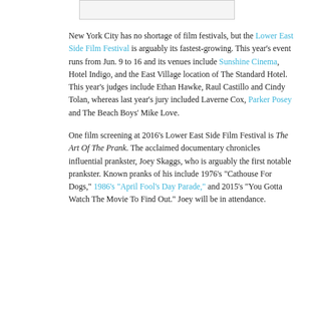[Figure (other): A small rectangular image placeholder at the top of the page]
New York City has no shortage of film festivals, but the Lower East Side Film Festival is arguably its fastest-growing. This year's event runs from Jun. 9 to 16 and its venues include Sunshine Cinema, Hotel Indigo, and the East Village location of The Standard Hotel. This year's judges include Ethan Hawke, Raul Castillo and Cindy Tolan, whereas last year's jury included Laverne Cox, Parker Posey and The Beach Boys' Mike Love.
One film screening at 2016's Lower East Side Film Festival is The Art Of The Prank. The acclaimed documentary chronicles influential prankster, Joey Skaggs, who is arguably the first notable prankster. Known pranks of his include 1976's "Cathouse For Dogs," 1986's "April Fool's Day Parade," and 2015's "You Gotta Watch The Movie To Find Out." Joey will be in attendance.